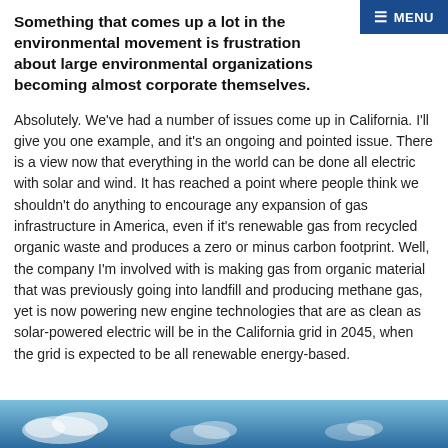Something that comes up a lot in the environmental movement is frustration about large environmental organizations becoming almost corporate themselves.
Absolutely. We've had a number of issues come up in California. I'll give you one example, and it's an ongoing and pointed issue. There is a view now that everything in the world can be done all electric with solar and wind. It has reached a point where people think we shouldn't do anything to encourage any expansion of gas infrastructure in America, even if it's renewable gas from recycled organic waste and produces a zero or minus carbon footprint. Well, the company I'm involved with is making gas from organic material that was previously going into landfill and producing methane gas, yet is now powering new engine technologies that are as clean as solar-powered electric will be in the California grid in 2045, when the grid is expected to be all renewable energy-based.
[Figure (photo): Sky with clouds, blue tones — bottom strip of page]